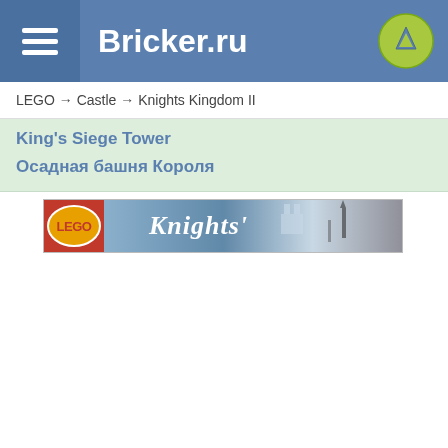Bricker.ru
LEGO → Castle → Knights Kingdom II
King's Siege Tower
Осадная башня Короля
[Figure (photo): LEGO Knights Kingdom II product banner image showing the Knights Kingdom II logo and box art]